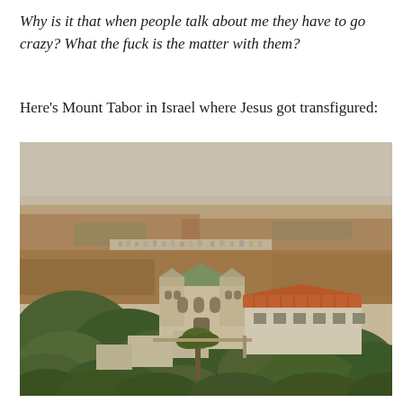Why is it that when people talk about me they have to go crazy? What the fuck is the matter with them?
Here's Mount Tabor in Israel where Jesus got transfigured:
[Figure (photo): Aerial photograph of Mount Tabor in Israel, showing the Church of the Transfiguration (a stone church with two towers and arched windows), surrounding buildings with an orange/red tiled roof, dense green trees on the hillside, and a wide flat valley/plain stretching into the hazy distance.]